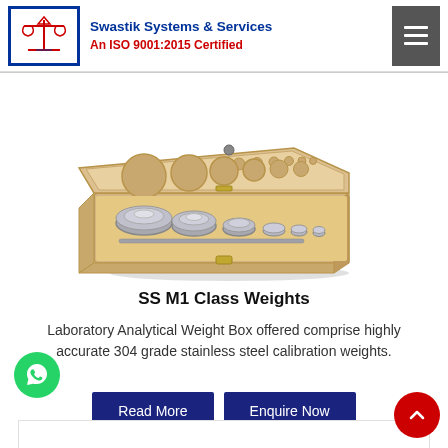Swastik Systems & Services | An ISO 9001:2015 Certified
[Figure (photo): A wooden calibration weight box (open lid) containing multiple stainless steel M1 class weights of various sizes arranged in fitted compartments.]
SS M1 Class Weights
Laboratory Analytical Weight Box offered comprise highly accurate 304 grade stainless steel calibration weights.